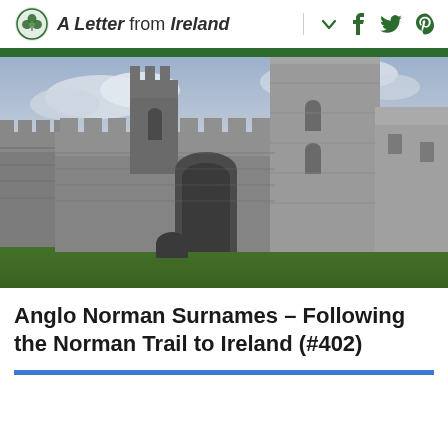A Letter from Ireland
[Figure (photo): Photograph of a medieval stone castle ruin with tall towers, arched doorways, and green grass in the foreground under a cloudy sky.]
Anglo Norman Surnames – Following the Norman Trail to Ireland (#402)